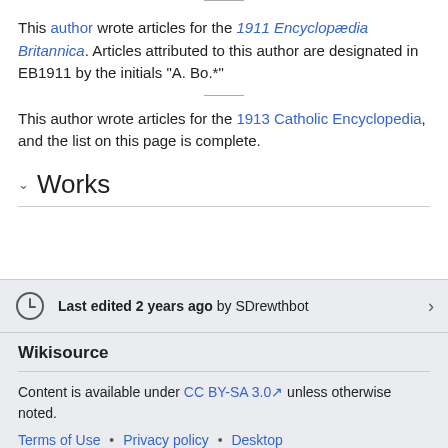This author wrote articles for the 1911 Encyclopædia Britannica. Articles attributed to this author are designated in EB1911 by the initials "A. Bo.*"
This author wrote articles for the 1913 Catholic Encyclopedia, and the list on this page is complete.
Works
Last edited 2 years ago by SDrewthbot
Wikisource
Content is available under CC BY-SA 3.0 unless otherwise noted.
Terms of Use • Privacy policy • Desktop